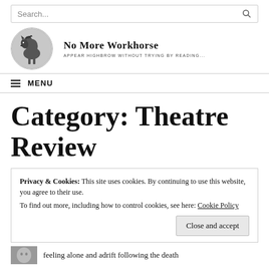Search...
No More Workhorse
APPEAR HIGHBROW WITHOUT TRYING BY READING...
MENU
Category: Theatre Review
Privacy & Cookies: This site uses cookies. By continuing to use this website, you agree to their use.
To find out more, including how to control cookies, see here: Cookie Policy
Close and accept
feeling alone and adrift following the death